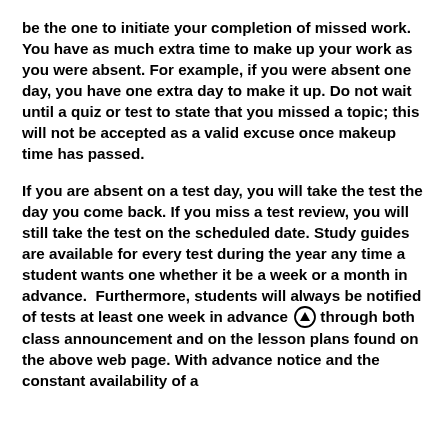be the one to initiate your completion of missed work. You have as much extra time to make up your work as you were absent. For example, if you were absent one day, you have one extra day to make it up. Do not wait until a quiz or test to state that you missed a topic; this will not be accepted as a valid excuse once makeup time has passed.
If you are absent on a test day, you will take the test the day you come back. If you miss a test review, you will still take the test on the scheduled date. Study guides are available for every test during the year any time a student wants one whether it be a week or a month in advance. Furthermore, students will always be notified of tests at least one week in advance through both class announcement and on the lesson plans found on the above web page. With advance notice and the constant availability of a